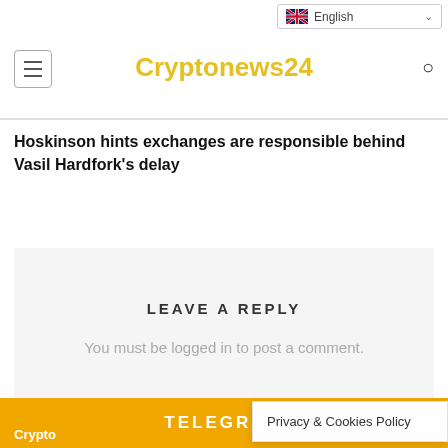Cryptonews24
Hoskinson hints exchanges are responsible behind Vasil Hardfork's delay
LEAVE A REPLY
You must be logged in to post a comment.
TELEGRAM
Privacy & Cookies Policy